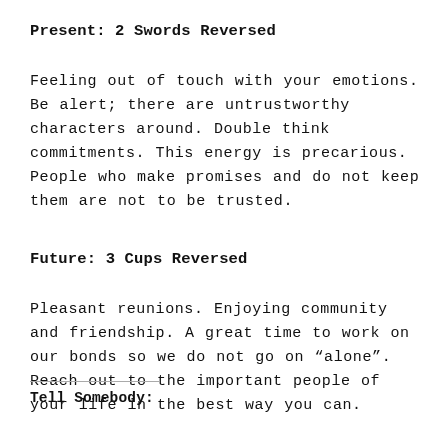Present: 2 Swords Reversed
Feeling out of touch with your emotions. Be alert; there are untrustworthy characters around. Double think commitments. This energy is precarious. People who make promises and do not keep them are not to be trusted.
Future: 3 Cups Reversed
Pleasant reunions. Enjoying community and friendship. A great time to work on our bonds so we do not go on “alone”. Reach out to the important people of your life in the best way you can.
Tell Somebody: